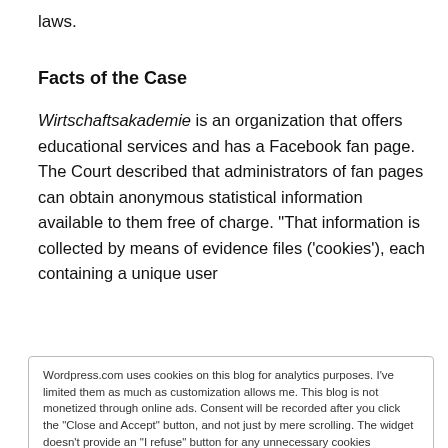laws.
Facts of the Case
Wirtschaftsakademie is an organization that offers educational services and has a Facebook fan page. The Court described that administrators of fan pages can obtain anonymous statistical information available to them free of charge. “That information is collected by means of evidence files (‘cookies’), each containing a unique user
Wordpress.com uses cookies on this blog for analytics purposes. I've limited them as much as customization allows me. This blog is not monetized through online ads. Consent will be recorded after you click the "Close and Accept" button, and not just by mere scrolling. The widget doesn't provide an "I refuse" button for any unnecessary cookies Wordpress may place, and I'm working on finding a solution for this. Wordpress Cookie Policy  Close and accept
Wirtschaftsakademie to close the fan page if it will not be